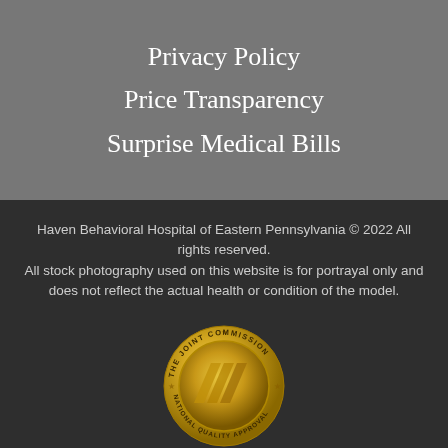Privacy Policy
Price Transparency
Surprise Medical Bills
Haven Behavioral Hospital of Eastern Pennsylvania © 2022 All rights reserved.
All stock photography used on this website is for portrayal only and does not reflect the actual health or condition of the model.
[Figure (logo): The Joint Commission National Quality Approval gold medal seal]